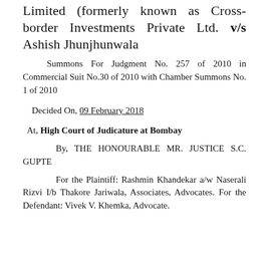Limited (formerly known as Cross-border Investments Private Ltd. v/s Ashish Jhunjhunwala
Summons For Judgment No. 257 of 2010 in Commercial Suit No.30 of 2010 with Chamber Summons No. 1 of 2010
Decided On, 09 February 2018
At, High Court of Judicature at Bombay
By, THE HONOURABLE MR. JUSTICE S.C. GUPTE
For the Plaintiff: Rashmin Khandekar a/w Naserali Rizvi I/b Thakore Jariwala, Associates, Advocates. For the Defendant: Vivek V. Khemka, Advocate.